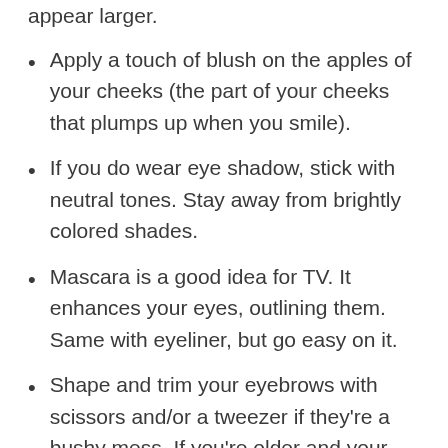appear larger.
Apply a touch of blush on the apples of your cheeks (the part of your cheeks that plumps up when you smile).
If you do wear eye shadow, stick with neutral tones. Stay away from brightly colored shades.
Mascara is a good idea for TV. It enhances your eyes, outlining them. Same with eyeliner, but go easy on it.
Shape and trim your eyebrows with scissors and/or a tweezer if they're a bushy mess. If you're older and your brows are faint, lightly color them in, but go easy on it.